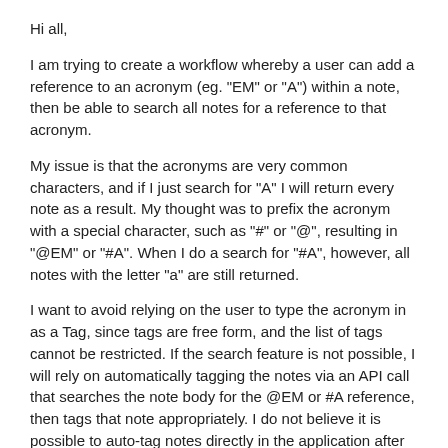Hi all,
I am trying to create a workflow whereby a user can add a reference to an acronym (eg. "EM" or "A") within a note, then be able to search all notes for a reference to that acronym.
My issue is that the acronyms are very common characters, and if I just search for "A" I will return every note as a result. My thought was to prefix the acronym with a special character, such as "#" or "@", resulting in "@EM" or "#A". When I do a search for "#A", however, all notes with the letter "a" are still returned.
I want to avoid relying on the user to type the acronym in as a Tag, since tags are free form, and the list of tags cannot be restricted. If the search feature is not possible, I will rely on automatically tagging the notes via an API call that searches the note body for the @EM or #A reference, then tags that note appropriately. I do not believe it is possible to auto-tag notes directly in the application after reading through past forum posts.
Thanks for any help,
James